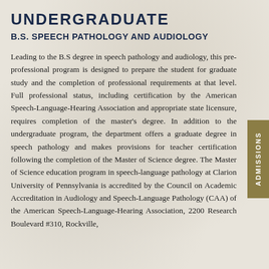UNDERGRADUATE
B.S. SPEECH PATHOLOGY AND AUDIOLOGY
Leading to the B.S degree in speech pathology and audiology, this pre-professional program is designed to prepare the student for graduate study and the completion of professional requirements at that level. Full professional status, including certification by the American Speech-Language-Hearing Association and appropriate state licensure, requires completion of the master's degree. In addition to the undergraduate program, the department offers a graduate degree in speech pathology and makes provisions for teacher certification following the completion of the Master of Science degree. The Master of Science education program in speech-language pathology at Clarion University of Pennsylvania is accredited by the Council on Academic Accreditation in Audiology and Speech-Language Pathology (CAA) of the American Speech-Language-Hearing Association, 2200 Research Boulevard #310, Rockville,